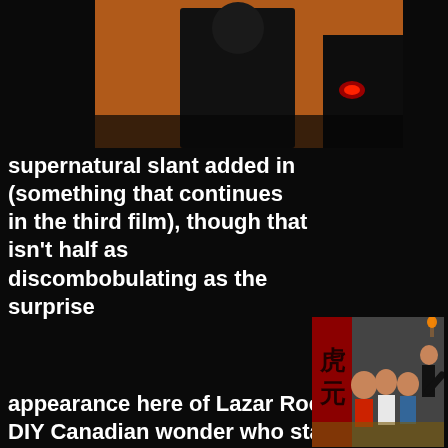[Figure (photo): A person in dark clothing standing near a car, orange/brick background with a red light visible]
supernatural slant added in (something that continues in the third film), though that isn't half as discombobulating as the surprise
[Figure (photo): Martial arts scene with fighters in a dungeon-like setting, Chinese character banner in background, one fighter performing a kick]
appearance here of Lazar Rockwood, the DIY Canadian wonder who starred in the SOV head-smasher Beyond the Seventh Door. This time the action shifts to San Francisco, and any plot synopsis will spoil the hell out of the prior film so be